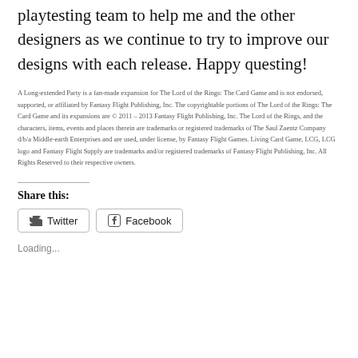playtesting team to help me and the other designers as we continue to try to improve our designs with each release. Happy questing!
A Long-extended Party is a fan-made expansion for The Lord of the Rings: The Card Game and is not endorsed, supported, or affiliated by Fantasy Flight Publishing, Inc. The copyrightable portions of The Lord of the Rings: The Card Game and its expansions are © 2011 – 2013 Fantasy Flight Publishing, Inc. The Lord of the Rings, and the characters, items, events and places therein are trademarks or registered trademarks of The Saul Zaentz Company d/b/a Middle-earth Enterprises and are used, under license, by Fantasy Flight Games. Living Card Game, LCG, LCG logo and Fantasy Flight Supply are trademarks and/or registered trademarks of Fantasy Flight Publishing, Inc. All Rights Reserved to their respective owners.
Share this:
Twitter  Facebook
Loading...